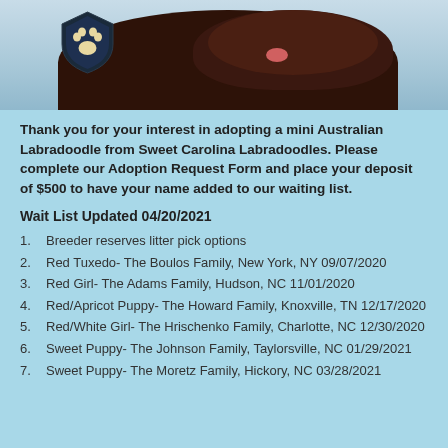[Figure (photo): Photo of a dark brown/chocolate curly-haired dog (mini Australian Labradoodle) with a shield/paw logo in the upper left corner of the image.]
Thank you for your interest in adopting a mini Australian Labradoodle from Sweet Carolina Labradoodles. Please complete our Adoption Request Form and place your deposit of $500 to have your name added to our waiting list.
Wait List Updated 04/20/2021
Breeder reserves litter pick options
Red Tuxedo- The Boulos Family, New York, NY 09/07/2020
Red Girl- The Adams Family, Hudson, NC 11/01/2020
Red/Apricot Puppy- The Howard Family, Knoxville, TN 12/17/2020
Red/White Girl- The Hrischenko Family, Charlotte, NC 12/30/2020
Sweet Puppy- The Johnson Family, Taylorsville, NC 01/29/2021
Sweet Puppy- The Moretz Family, Hickory, NC 03/28/2021